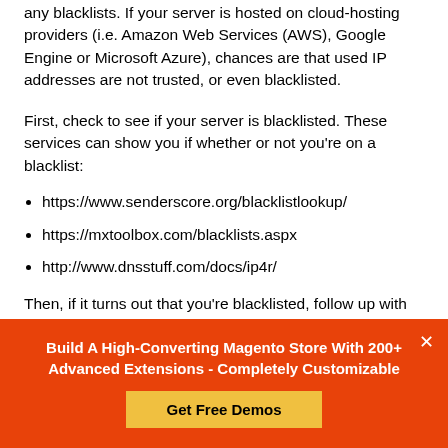any blacklists. If your server is hosted on cloud-hosting providers (i.e. Amazon Web Services (AWS), Google Engine or Microsoft Azure), chances are that used IP addresses are not trusted, or even blacklisted.
First, check to see if your server is blacklisted. These services can show you if whether or not you're on a blacklist:
https://www.senderscore.org/blacklistlookup/
https://mxtoolbox.com/blacklists.aspx
http://www.dnsstuff.com/docs/ip4r/
Then, if it turns out that you're blacklisted, follow up with the site that has added you to the blacklist. You can contest this decision
Build A High-Converting Magento Store With 200+ Advanced Extensions - Completely Customizable
Get Free Demos